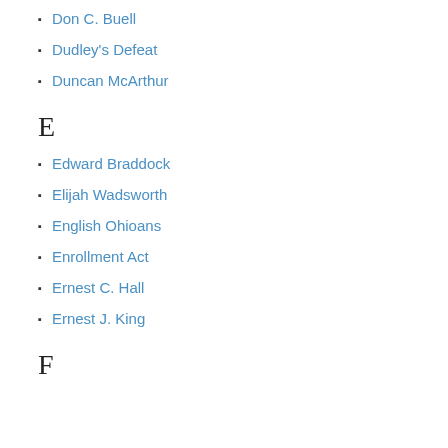Don C. Buell
Dudley's Defeat
Duncan McArthur
E
Edward Braddock
Elijah Wadsworth
English Ohioans
Enrollment Act
Ernest C. Hall
Ernest J. King
F